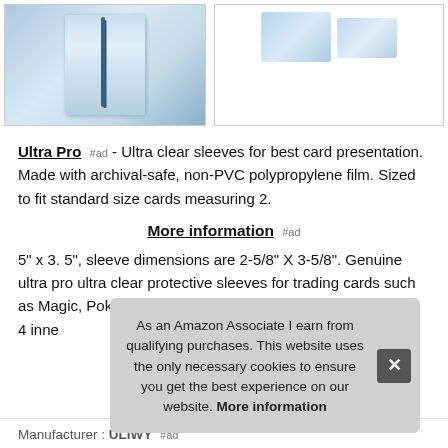[Figure (photo): Two product images of Ultra Pro card sleeves in clear plastic bags, shown side by side]
Ultra Pro #ad - Ultra clear sleeves for best card presentation. Made with archival-safe, non-PVC polypropylene film. Sized to fit standard size cards measuring 2.
More information #ad
5" x 3. 5", sleeve dimensions are 2-5/8" X 3-5/8". Genuine ultra pro ultra clear protective sleeves for trading cards such as Magic, Pokemon, and other sports cards. 500-count pack 4 inne
As an Amazon Associate I earn from qualifying purchases. This website uses the only necessary cookies to ensure you get the best experience on our website. More information
Manufacturer : ULIWY #ad